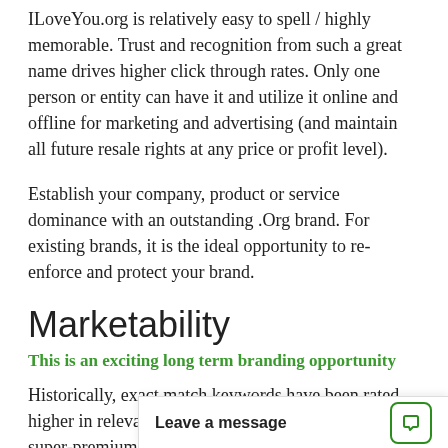ILoveYou.org is relatively easy to spell / highly memorable. Trust and recognition from such a great name drives higher click through rates. Only one person or entity can have it and utilize it online and offline for marketing and advertising (and maintain all future resale rights at any price or profit level).
Establish your company, product or service dominance with an outstanding .Org brand. For existing brands, it is the ideal opportunity to re-enforce and protect your brand.
Marketability
This is an exciting long term branding opportunity
Historically, exact match keywords have been rated higher in relevancy for search engine ranking. A super-premium .Org DomainMarket.com